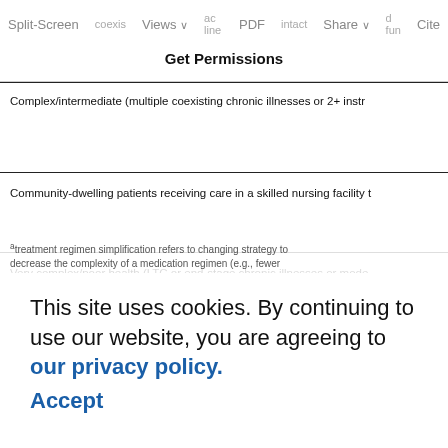Split-Screen  Views  PDF  Share  Cite
Get Permissions
Complex/intermediate (multiple coexisting chronic illnesses or 2+ instr
Community-dwelling patients receiving care in a skilled nursing facility
Very complex/poor health (LTC or end-stage chronic illnesses or mode
At the end of life
This site uses cookies. By continuing to use our website, you are agreeing to our privacy policy. Accept
treatment regimen simplification refers to changing strategy to decrease the complexity of a medication regimen (e.g., fewer